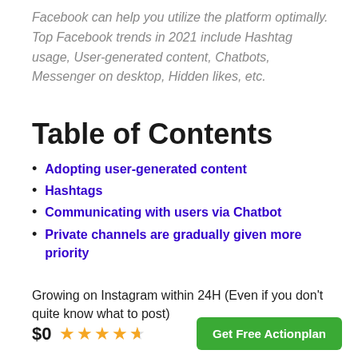Facebook can help you utilize the platform optimally. Top Facebook trends in 2021 include Hashtag usage, User-generated content, Chatbots, Messenger on desktop, Hidden likes, etc.
Table of Contents
Adopting user-generated content
Hashtags
Communicating with users via Chatbot
Private channels are gradually given more priority
Growing on Instagram within 24H (Even if you don't quite know what to post)
$0 ★★★★☆ Get Free Actionplan